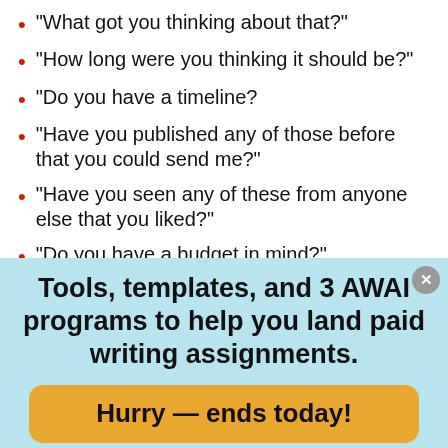“What got you thinking about that?”
“How long were you thinking it should be?”
“Do you have a timeline?
“Have you published any of those before that you could send me?”
“Have you seen any of these from anyone else that you liked?”
“Do you have a budget in mind?”
Tools, templates, and 3 AWAI programs to help you land paid writing assignments.
Hurry — ends today!